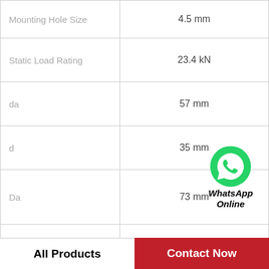| Parameter | Value |
| --- | --- |
| Mounting Hole Size | 4.5 mm |
| Static Load Rating | 23.4 kN |
| da | 57 mm |
| d | 35 mm |
| Da | 73 mm |
| Inner rings PCD | 45 mm |
| Outer rings PCD | 83 mm |
| D | 95 mm |
| Dynamic Load Rating | 18.9 kN |
[Figure (logo): WhatsApp Online contact widget with green phone icon]
All Products   Contact Now